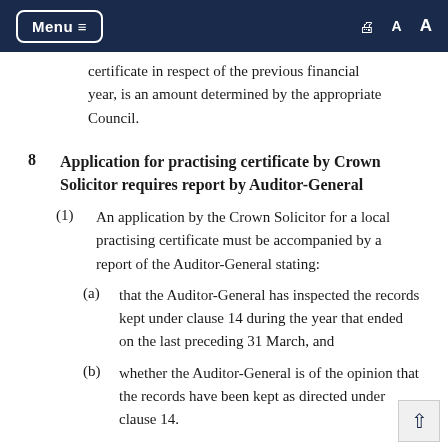Menu ≡  🖨 A A
certificate in respect of the previous financial year, is an amount determined by the appropriate Council.
8  Application for practising certificate by Crown Solicitor requires report by Auditor-General
(1)  An application by the Crown Solicitor for a local practising certificate must be accompanied by a report of the Auditor-General stating:
(a)  that the Auditor-General has inspected the records kept under clause 14 during the year that ended on the last preceding 31 March, and
(b)  whether the Auditor-General is of the opinion that the records have been kept as directed under clause 14.